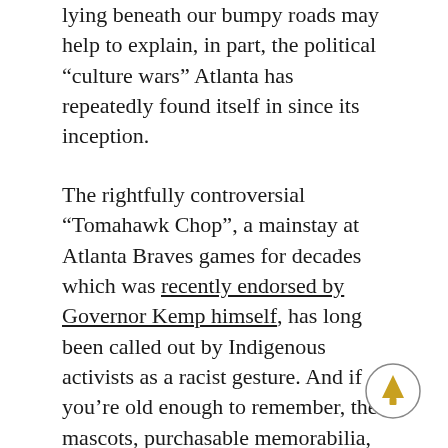lying beneath our bumpy roads may help to explain, in part, the political “culture wars” Atlanta has repeatedly found itself in since its inception.
The rightfully controversial “Tomahawk Chop”, a mainstay at Atlanta Braves games for decades which was recently endorsed by Governor Kemp himself, has long been called out by Indigenous activists as a racist gesture. And if you’re old enough to remember, the mascots, purchasable memorabilia, marketing materials, and general imagery of the team have all at different times leaned heavily on reductive trope-filled Native symbols. Not to mention, the team name itself is taken from a colonial